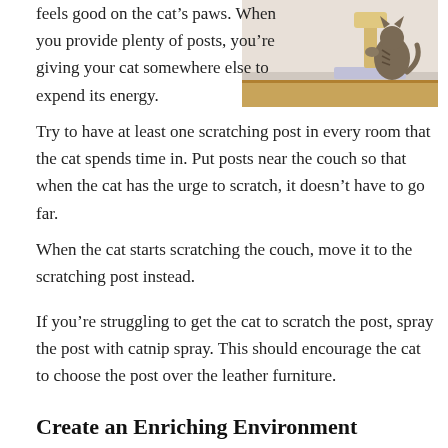feels good on the cat’s paws. When you provide plenty of posts, you’re giving your cat somewhere else to expend its energy.
[Figure (photo): A cat using a scratching post on a wooden floor]
Try to have at least one scratching post in every room that the cat spends time in. Put posts near the couch so that when the cat has the urge to scratch, it doesn’t have to go far.
When the cat starts scratching the couch, move it to the scratching post instead.
If you’re struggling to get the cat to scratch the post, spray the post with catnip spray. This should encourage the cat to choose the post over the leather furniture.
Create an Enriching Environment